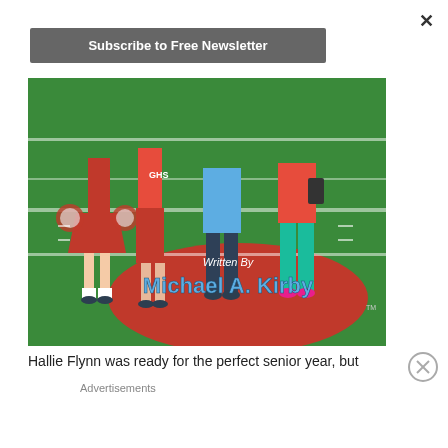×
Subscribe to Free Newsletter
[Figure (illustration): Book cover illustration showing teenagers standing on a football field, including a cheerleader in red skirt, athletes, and students with phones. Text on cover reads 'Written By Michael A. Kirby']
Hallie Flynn was ready for the perfect senior year, but
Advertisements